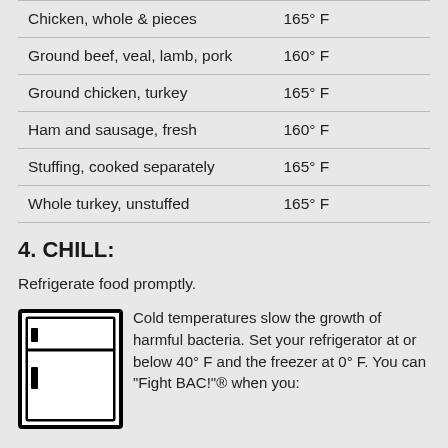| Food | Temperature |
| --- | --- |
| Chicken, whole & pieces | 165° F |
| Ground beef, veal, lamb, pork | 160° F |
| Ground chicken, turkey | 165° F |
| Ham and sausage, fresh | 160° F |
| Stuffing, cooked separately | 165° F |
| Whole turkey, unstuffed | 165° F |
4. CHILL:
Refrigerate food promptly.
Cold temperatures slow the growth of harmful bacteria. Set your refrigerator at or below 40° F and the freezer at 0° F. You can "Fight BAC!"® when you: